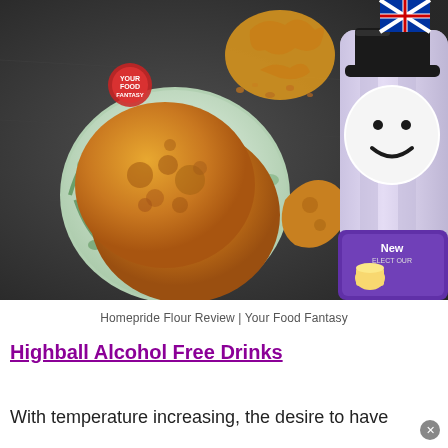[Figure (photo): Fried flatbreads (pooris) on a decorative plate on a dark slate background, with a Homepride flour canister (featuring the Fred the flour man mascot with top hat) and a smaller product container visible to the right.]
Homepride Flour Review | Your Food Fantasy
Highball Alcohol Free Drinks
With temperature increasing, the desire to have